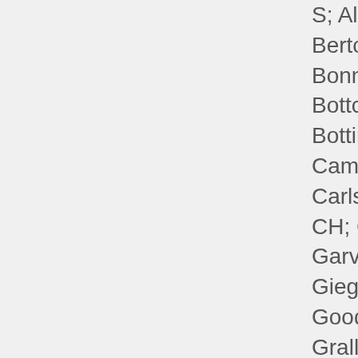S; Alizadeh, BZ; Bertoni, AG; Bonnefond, A; Bottcher, Y; Bottinger, EP; Campbell, H; Carlson, OD; Che CH; Cho, YS; Garvey, WT; Gieger, C; Goodarzi, MO; Grallert, H; Hamsten, A; Hartman, CA; Herder, C; Hsiun CA; Huang, J; Igase, M; Isono, Katsuya, T; Khor CC; Kiess, W; Kohara, K; Kor